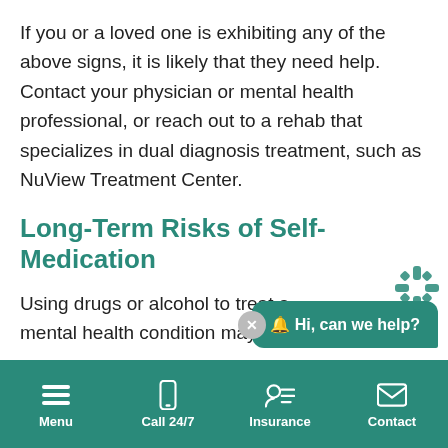If you or a loved one is exhibiting any of the above signs, it is likely that they need help. Contact your physician or mental health professional, or reach out to a rehab that specializes in dual diagnosis treatment, such as NuView Treatment Center.
Long-Term Risks of Self-Medication
Using drugs or alcohol to treat a mental health condition may be tempting for
Menu  Call 24/7  Insurance  Contact